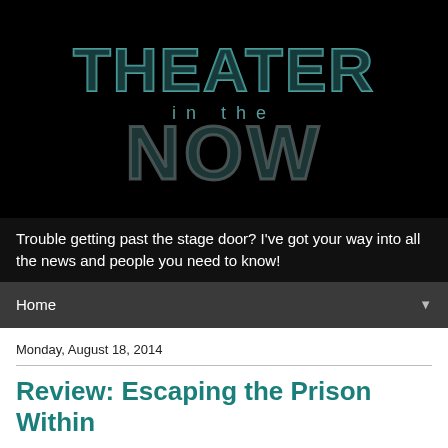[Figure (logo): Theater in the Now logo — large stylized text 'THEATER' and 'NOW' with dotted/marquee light-bulb style letters on a black background, with 'in the' in smaller text between the two large words]
Trouble getting past the stage door? I've got your way into all the news and people you need to know!
Home
Monday, August 18, 2014
Review: Escaping the Prison Within
Coming home as an adult may not always be easy